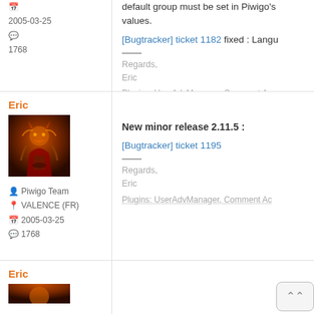default group must be set in Piwigo's values.
[Bugtracker] ticket 1182 fixed : Langu...
Regards,
Eric
Plugins: UserAdvManager, Comment Ac...
2005-03-25
1768
Eric
[Figure (photo): Avatar of user Eric - orange/dark fantasy warrior image]
Piwigo Team
VALENCE (FR)
2005-03-25
1768
New minor release 2.11.5 :
[Bugtracker] ticket 1195
Regards,
Eric
Plugins: UserAdvManager, Comment Ac...
Eric